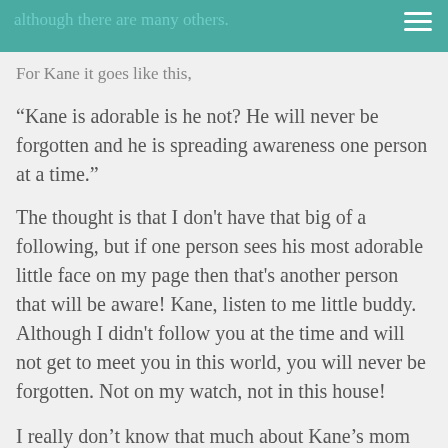although there are many others.
For Kane it goes like this,
“Kane is adorable is he not? He will never be forgotten and he is spreading awareness one person at a time.”
The thought is that I don't have that big of a following, but if one person sees his most adorable little face on my page then that’s another person that will be aware! Kane, listen to me little buddy. Although I didn’t follow you at the time and will not get to meet you in this world, you will never be forgotten. Not on my watch, not in this house!
I really don’t know that much about Kane’s mom Linda. I have, however, seen enough in her Facebook posts to know that she has been